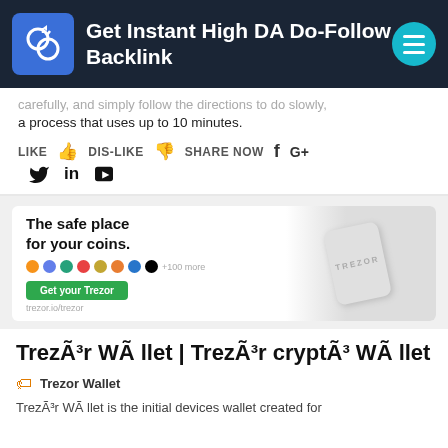Get Instant High DA Do-Follow Backlink
a process that uses up to 10 minutes.
LIKE  DIS-LIKE  SHARE NOW
[Figure (screenshot): Trezor wallet advertisement banner showing 'The safe place for your coins.' with crypto icons and a Get your Trezor button]
TrezÃ³r WÃ llet | TrezÃ³r cryptÃ³ WÃ llet
Trezor Wallet
TrezÃ³r WÃ llet is the initial devices wallet created for